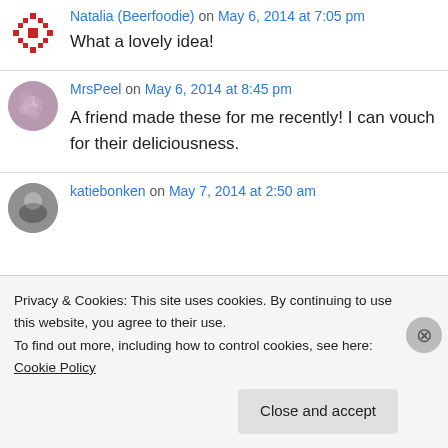Natalia (Beerfoodie) on May 6, 2014 at 7:05 pm
What a lovely idea!
MrsPeel on May 6, 2014 at 8:45 pm
A friend made these for me recently! I can vouch for their deliciousness.
katiebonken on May 7, 2014 at 2:50 am
Privacy & Cookies: This site uses cookies. By continuing to use this website, you agree to their use.
To find out more, including how to control cookies, see here: Cookie Policy
Close and accept